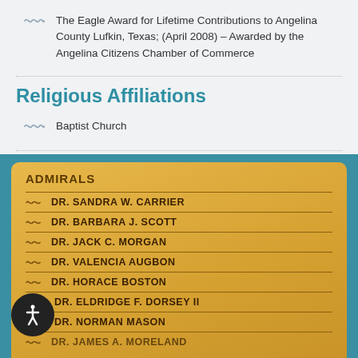The Eagle Award for Lifetime Contributions to Angelina County Lufkin, Texas; (April 2008) – Awarded by the Angelina Citizens Chamber of Commerce
Religious Affiliations
Baptist Church
[Figure (other): Gold panel with ADMIRALS header listing: DR. SANDRA W. CARRIER, DR. BARBARA J. SCOTT, DR. JACK C. MORGAN, DR. VALENCIA AUGBON, DR. HORACE BOSTON, DR. ELDRIDGE F. DORSEY II, DR. NORMAN MASON, DR. JAMES A. MORELAND]
DR. SANDRA W. CARRIER
DR. BARBARA J. SCOTT
DR. JACK C. MORGAN
DR. VALENCIA AUGBON
DR. HORACE BOSTON
DR. ELDRIDGE F. DORSEY II
DR. NORMAN MASON
DR. JAMES A. MORELAND